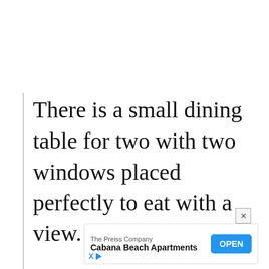There is a small dining table for two with two windows placed perfectly to eat with a view.
[Figure (other): Advertisement banner for The Preiss Company - Cabana Beach Apartments with an OPEN button]